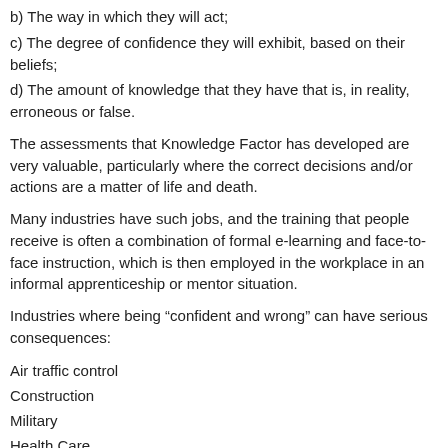b) The way in which they will act;
c) The degree of confidence they will exhibit, based on their beliefs;
d) The amount of knowledge that they have that is, in reality, erroneous or false.
The assessments that Knowledge Factor has developed are very valuable, particularly where the correct decisions and/or actions are a matter of life and death.
Many industries have such jobs, and the training that people receive is often a combination of formal e-learning and face-to-face instruction, which is then employed in the workplace in an informal apprenticeship or mentor situation.
Industries where being “confident and wrong” can have serious consequences:
Air traffic control
Construction
Military
Health Care